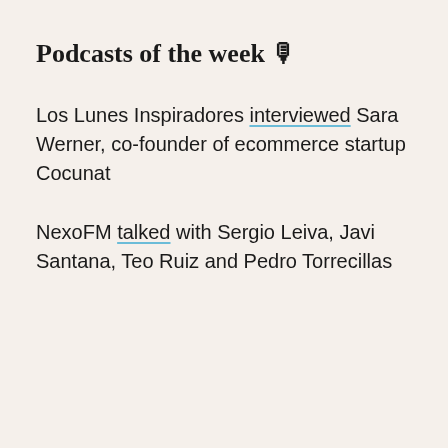Podcasts of the week 🎙
Los Lunes Inspiradores interviewed Sara Werner, co-founder of ecommerce startup Cocunat
NexoFM talked with Sergio Leiva, Javi Santana, Teo Ruiz and Pedro Torrecillas